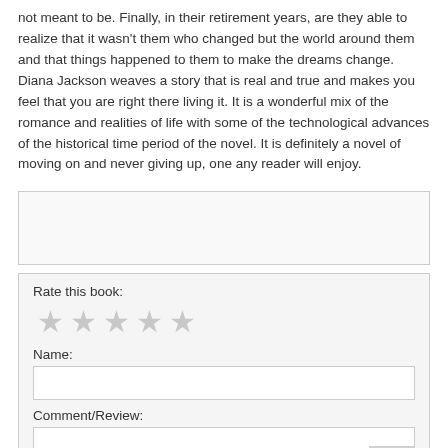not meant to be. Finally, in their retirement years, are they able to realize that it wasn't them who changed but the world around them and that things happened to them to make the dreams change. Diana Jackson weaves a story that is real and true and makes you feel that you are right there living it. It is a wonderful mix of the romance and realities of life with some of the technological advances of the historical time period of the novel. It is definitely a novel of moving on and never giving up, one any reader will enjoy.
[Figure (other): Empty light gray bordered box (advertisement or image placeholder)]
Rate this book:
[Figure (other): Five gray star rating icons]
Name:
[Figure (other): Empty text input field for Name]
Comment/Review:
[Figure (other): Empty textarea for Comment/Review with scroll-to-top button]